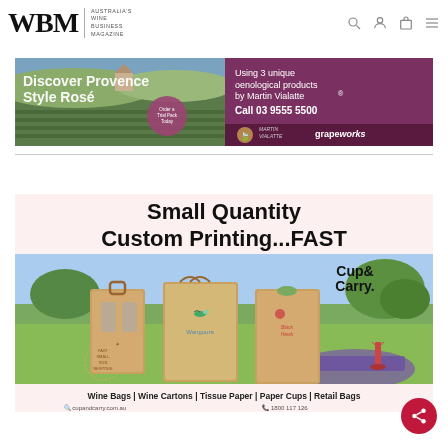WBM | Australia's Wine Business Magazine
[Figure (illustration): Advertisement for Discover Provence Style Rosé using 3 unique oenological products by Martin Vialatte. Call 03 9555 5500. Grapeworks branding. Background image of vineyard landscape.]
[Figure (illustration): Advertisement for Cup & Carry: Small Quantity Custom Printing...FAST. Shows kraft paper wine bags and cartons with custom branding (Wangoura, Black Hawk). Wine Bags | Wine Cartons | Tissue Paper | Paper Cups | Retail Bags. cupandcarry.com.au | 1800 117 126]